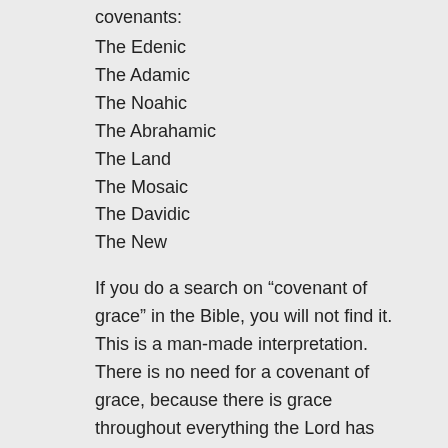covenants:
The Edenic
The Adamic
The Noahic
The Abrahamic
The Land
The Mosaic
The Davidic
The New
If you do a search on “covenant of grace” in the Bible, you will not find it. This is a man-made interpretation. There is no need for a covenant of grace, because there is grace throughout everything the Lord has done from the beginning of creation. Every covenant demonstrates his grace, in that